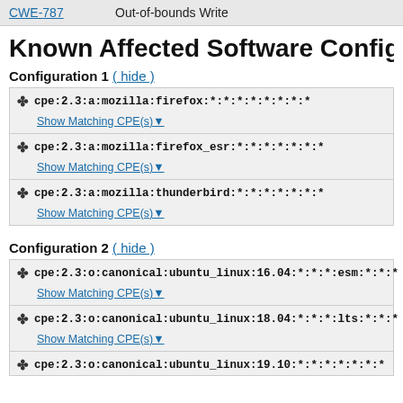CWE-787  Out-of-bounds Write
Known Affected Software Config
Configuration 1 ( hide )
cpe:2.3:a:mozilla:firefox:*:*:*:*:*:*:*:*
Show Matching CPE(s)
cpe:2.3:a:mozilla:firefox_esr:*:*:*:*:*:*:*
Show Matching CPE(s)
cpe:2.3:a:mozilla:thunderbird:*:*:*:*:*:*:*
Show Matching CPE(s)
Configuration 2 ( hide )
cpe:2.3:o:canonical:ubuntu_linux:16.04:*:*:*:esm:*:*:*
Show Matching CPE(s)
cpe:2.3:o:canonical:ubuntu_linux:18.04:*:*:*:lts:*:*:*
Show Matching CPE(s)
cpe:2.3:o:canonical:ubuntu_linux:19.10:*:*:*:*:*:*:*